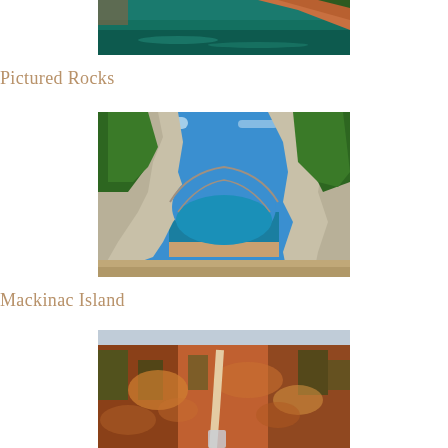[Figure (photo): Aerial view of Pictured Rocks cliff face with teal-green lake water below, partially cropped at top of page]
Pictured Rocks
[Figure (photo): Arch Rock on Mackinac Island — a large natural limestone arch framing turquoise Lake Huron water, surrounded by green trees under blue sky]
Mackinac Island
[Figure (photo): Aerial view of autumn forest in Michigan showing orange, red, and green fall foliage with a river or road cutting through the trees]